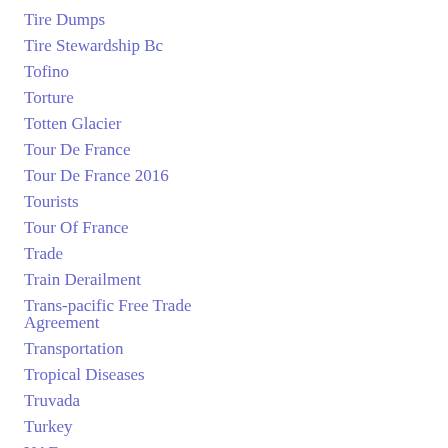Tire Dumps
Tire Stewardship Bc
Tofino
Torture
Totten Glacier
Tour De France
Tour De France 2016
Tourists
Tour Of France
Trade
Train Derailment
Trans-pacific Free Trade Agreement
Transportation
Tropical Diseases
Truvada
Turkey
UAE